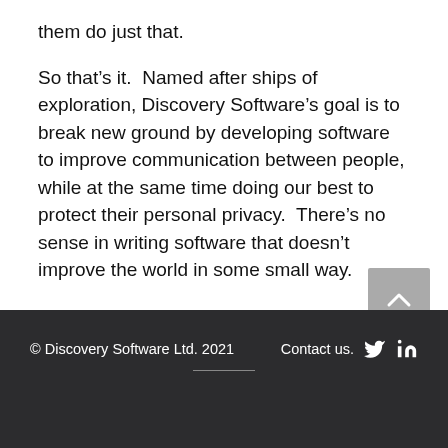them do just that.
So that’s it.  Named after ships of exploration, Discovery Software’s goal is to break new ground by developing software to improve communication between people, while at the same time doing our best to protect their personal privacy.  There’s no sense in writing software that doesn’t improve the world in some small way.
© Discovery Software Ltd. 2021   Contact us.